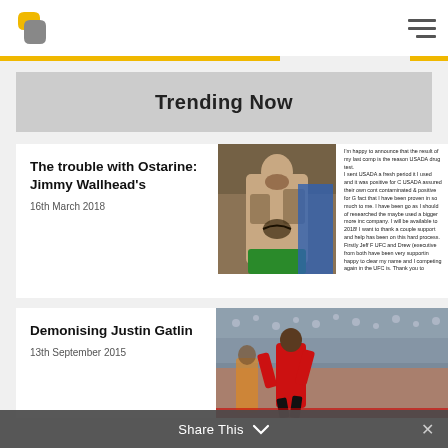Trending Now
The trouble with Ostarine: Jimmy Wallhead's
16th March 2018
[Figure (photo): MMA fighter Jimmy Wallhead shirtless at weigh-in, showing tattoos, flexing]
I'm happy to announce that the result of my last comp is the reason USADA drug test. I sent USADA a fresh period it I used and it was positive for C USADA assured their own cont contaminated & positive for G fact that I have been proven in so much to me. I have been go as I should of researched the maybe used a bigger more inc company. I will be available to 2018! I want to thank a couple support and help has been on this hard process. Firstly Jeff F UFC and Drew (executive from both have been very supportin happy to clear my name and I competing again in the UFC is. Thank you to everyone who h and supported me through th
Demonising Justin Gatlin
13th September 2015
[Figure (photo): Justin Gatlin at athletics track event, crowd in background, wearing red uniform]
Share This ∨  ✕